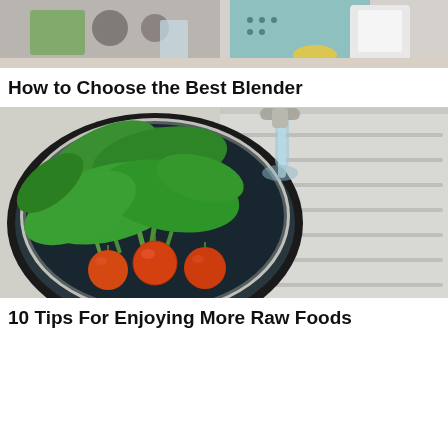[Figure (photo): Person in kitchen with blender, ingredients visible on counter]
How to Choose the Best Blender
[Figure (photo): Green leafy vegetables and cherry tomatoes being washed in a steel bowl in a kitchen sink]
10 Tips For Enjoying More Raw Foods